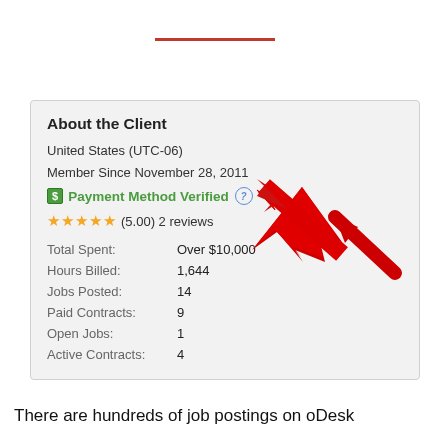[Figure (other): Red horizontal decorative line separator]
About the Client
United States (UTC-06)
Member Since November 28, 2011
Payment Method Verified
★★★★★ (5.00) 2 reviews
| Label | Value |
| --- | --- |
| Total Spent: | Over $10,000 |
| Hours Billed: | 1,644 |
| Jobs Posted: | 14 |
| Paid Contracts: | 9 |
| Open Jobs: | 1 |
| Active Contracts: | 4 |
[Figure (illustration): Red arrow pointing up-left toward the question mark icon next to Payment Method Verified]
There are hundreds of job postings on oDesk